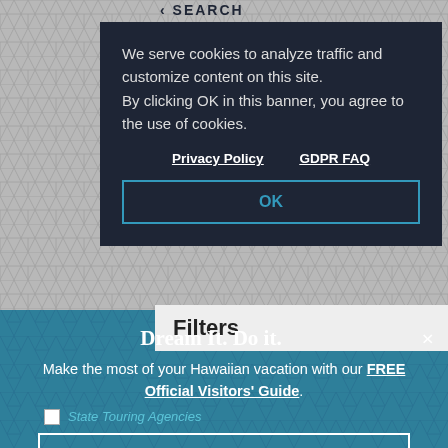< SEARCH
We serve cookies to analyze traffic and customize content on this site. By clicking OK in this banner, you agree to the use of cookies.
Privacy Policy    GDPR FAQ
OK
Filters
Dream It. Do it.
Make the most of your Hawaiian vacation with our FREE Official Visitors' Guide.
LET'S GO